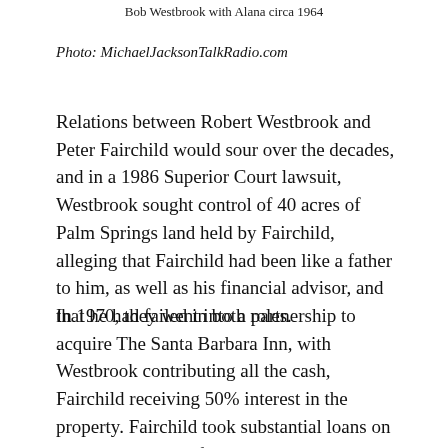Bob Westbrook with Alana circa 1964
Photo: MichaelJacksonTalkRadio.com
Relations between Robert Westbrook and Peter Fairchild would sour over the decades, and in a 1986 Superior Court lawsuit, Westbrook sought control of 40 acres of Palm Springs land held by Fairchild, alleging that Fairchild had been like a father to him, as well as his financial advisor, and that he had failed in both roles.
In 1970, they went into a partnership to acquire The Santa Barbara Inn, with Westbrook contributing all the cash, Fairchild receiving 50% interest in the property. Fairchild took substantial loans on the building, and after it